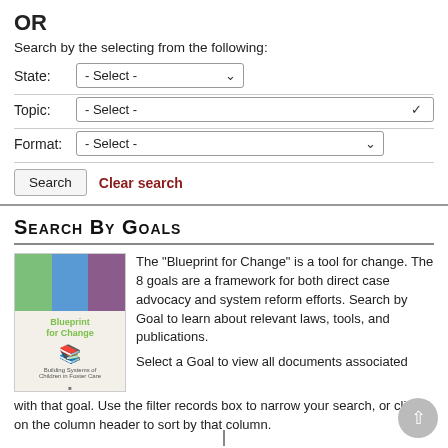OR
Search by the selecting from the following:
State:   - Select -
Topic:   - Select -
Format:  - Select -
Search   Clear search
Search By Goals
[Figure (photo): Book cover of 'Blueprint for Change' with colorful grid of images on top half and book/stack illustration on bottom half]
The "Blueprint for Change" is a tool for change. The 8 goals are a framework for both direct case advocacy and system reform efforts. Search by Goal to learn about relevant laws, tools, and publications.

Select a Goal to view all documents associated with that goal. Use the filter records box to narrow your search, or click on the column header to sort by that column.